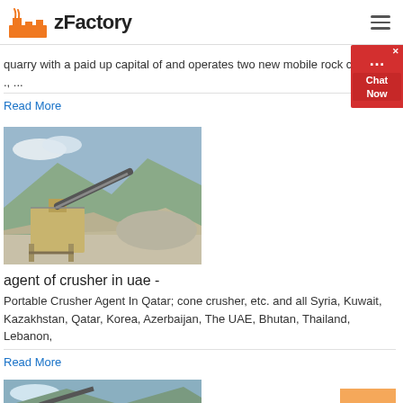zFactory
quarry with a paid up capital of and operates two new mobile rock crushers, ., ...
Read More
[Figure (photo): Industrial rock crusher / quarry equipment with conveyor belt and stone aggregate pile]
agent of crusher in uae -
Portable Crusher Agent In Qatar; cone crusher, etc. and all Syria, Kuwait, Kazakhstan, Qatar, Korea, Azerbaijan, The UAE, Bhutan, Thailand, Lebanon,
Read More
[Figure (photo): Another industrial quarry/crusher equipment photo, partially visible at bottom of page]